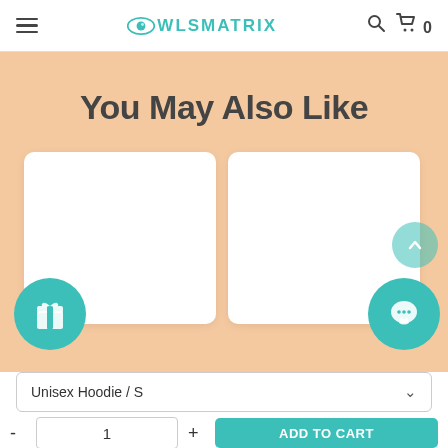OWLSMATRIX — navigation header with hamburger menu, logo, search icon, cart icon (0 items)
You May Also Like
[Figure (illustration): Two white product card placeholders side by side on a peach background, with a teal gift icon button on the bottom-left card and a teal chat bubble button on the bottom-right, plus a teal scroll-up chevron button on the right side]
Unisex Hoodie / S
- 1 + ADD TO CART